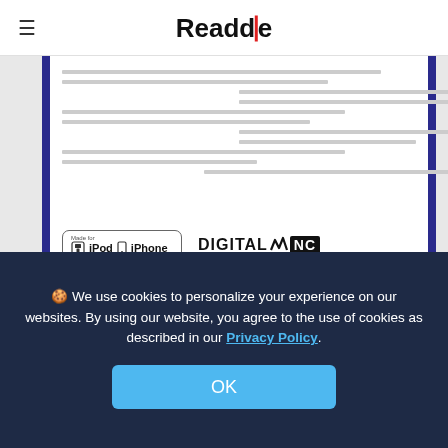Readdle
[Figure (photo): Product label showing Made for iPod iPhone badge, DIGITAL NC logo, NFC badge, Bluetooth logo, LDAC badge, manufacture date 2018-05, and a barcode. White label on white background with blue side bars.]
🍪 We use cookies to personalize your experience on our websites. By using our website, you agree to the use of cookies as described in our Privacy Policy.